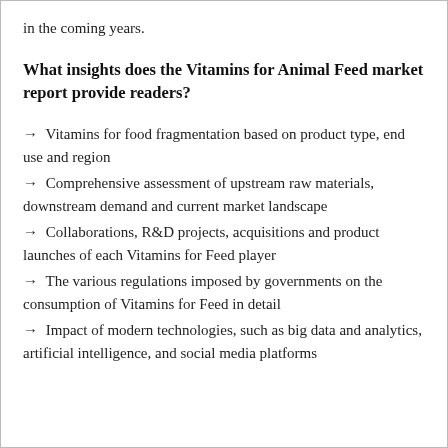in the coming years.
What insights does the Vitamins for Animal Feed market report provide readers?
→ Vitamins for food fragmentation based on product type, end use and region
→ Comprehensive assessment of upstream raw materials, downstream demand and current market landscape
→ Collaborations, R&D projects, acquisitions and product launches of each Vitamins for Feed player
→ The various regulations imposed by governments on the consumption of Vitamins for Feed in detail
→ Impact of modern technologies, such as big data and analytics, artificial intelligence, and social media platforms